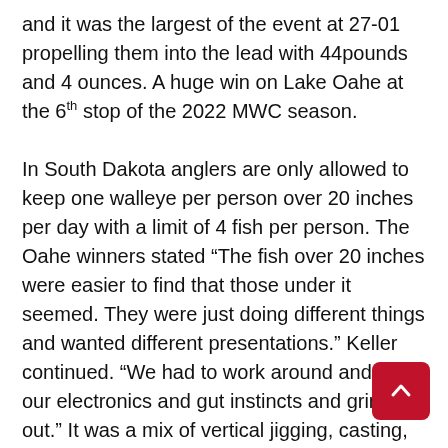and it was the largest of the event at 27-01 propelling them into the lead with 44pounds and 4 ounces. A huge win on Lake Oahe at the 6th stop of the 2022 MWC season.

In South Dakota anglers are only allowed to keep one walleye per person over 20 inches per day with a limit of 4 fish per person. The Oahe winners stated “The fish over 20 inches were easier to find that those under it seemed. They were just doing different things and wanted different presentations.” Keller continued. “We had to work around and trust our electronics and gut instincts and grind it out.” It was a mix of vertical jigging, casting, and trolling both hard baits and live bait to get the right fish to eat. All of that hard work and intuition paid off for them. The winners were rewarded with a top prize of almost $23,000 which included $9,700 cash, $1,000 NTC prize package, $3,850 for the Option P along with a $7,000 Ranger Cup Bonus, $1,000